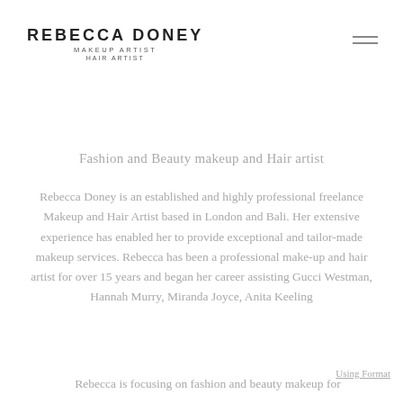REBECCA DONEY
MAKEUP ARTIST
HAIR ARTIST
Fashion and Beauty makeup and Hair artist
Rebecca Doney is an established and highly professional freelance Makeup and Hair Artist based in London and Bali. Her extensive experience has enabled her to provide exceptional and tailor-made makeup services. Rebecca has been a professional make-up and hair artist for over 15 years and began her career assisting Gucci Westman, Hannah Murry, Miranda Joyce, Anita Keeling
Rebecca is focusing on fashion and beauty makeup for
Using Format